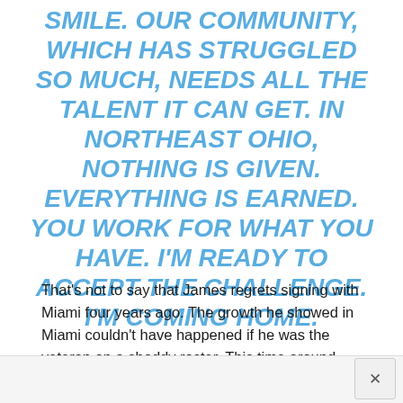SMILE. OUR COMMUNITY, WHICH HAS STRUGGLED SO MUCH, NEEDS ALL THE TALENT IT CAN GET. IN NORTHEAST OHIO, NOTHING IS GIVEN. EVERYTHING IS EARNED. YOU WORK FOR WHAT YOU HAVE. I'M READY TO ACCEPT THE CHALLENGE. I'M COMING HOME.
That's not to say that James regrets signing with Miami four years ago. The growth he showed in Miami couldn't have happened if he was the veteran on a shoddy roster. This time around, James is the mentor with championship experience to Irving that Wade was for him.